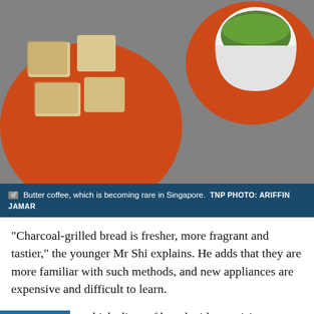[Figure (photo): Overhead view of orange plates with toast/bread slices and a white cup with green filling on an orange saucer, on a grey surface.]
Butter coffee, which is becoming rare in Singapore. TNP PHOTO: ARIFFIN JAMAR
"Charcoal-grilled bread is fresher, more fragrant and tastier," the younger Mr Shi explains. He adds that they are more familiar with such methods, and new appliances are expensive and difficult to learn.
He rapidly cuts thick slices of bread with surprising accuracy. Instead of using butter knives to scrape off the burnt bits of bread, he uses the metal lid of